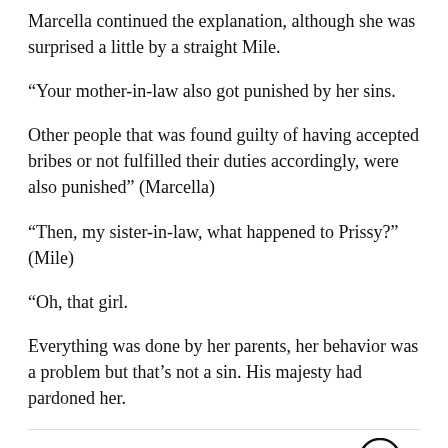Marcella continued the explanation, although she was surprised a little by a straight Mile.
“Your mother-in-law also got punished by her sins.
Other people that was found guilty of having accepted bribes or not fulfilled their duties accordingly, were also punished” (Marcella)
“Then, my sister-in-law, what happened to Prissy?” (Mile)
“Oh, that girl.
Everything was done by her parents, her behavior was a problem but that’s not a sin. His majesty had pardoned her.
You May Like    Sponsored Links by Taboola
[Figure (photo): Bottom image strip showing a person, partially visible]